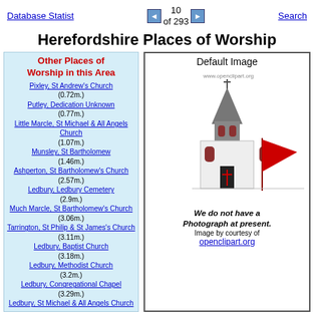Database Statist  10 of 293  Search
Herefordshire Places of Worship
Other Places of Worship in this Area
Pixley, St Andrew's Church (0.72m.)
Putley, Dedication Unknown (0.77m.)
Little Marcle, St Michael & All Angels Church (1.07m.)
Munsley, St Bartholomew (1.46m.)
Ashperton, St Bartholomew's Church (2.57m.)
Ledbury, Ledbury Cemetery (2.9m.)
Much Marcle, St Bartholomew's Church (3.06m.)
Tarrington, St Philip & St James's Church (3.11m.)
Ledbury, Baptist Church (3.18m.)
Ledbury, Methodist Church (3.2m.)
Ledbury, Congregational Chapel (3.29m.)
Ledbury, St Michael & All Angels Church
[Figure (illustration): Default church image placeholder showing a clipart illustration of a church with a steeple and red flag, with text 'We do not have a Photograph at present. Image by courtesy of openclipart.org']